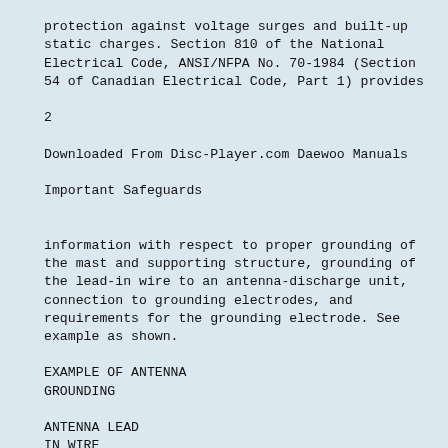protection against voltage surges and built-up static charges. Section 810 of the National Electrical Code, ANSI/NFPA No. 70-1984 (Section 54 of Canadian Electrical Code, Part 1) provides
2
Downloaded From Disc-Player.com Daewoo Manuals
Important Safeguards
information with respect to proper grounding of the mast and supporting structure, grounding of the lead-in wire to an antenna-discharge unit, connection to grounding electrodes, and requirements for the grounding electrode. See example as shown.
EXAMPLE OF ANTENNA GROUNDING
ANTENNA LEAD IN WIRE
GROUND CLAMP
ANTENNA DISCHARGE UNIT (NEC SECTION 810-20)
ELECTRIC SERVICE EQUIPMENT
GROUNDING CONDUCTORS (NEC SECTION 810-21)
GROUND CLAMPS
NEC - NATIONAL ELECTRICAL CODE
POWER SERVICE GROUNDING ELECTRODE SYSTEM (NEC ART 250 PART H)
14 Power Lines
An outside antenna system should not be located in the vicinity of overhead power lines, other